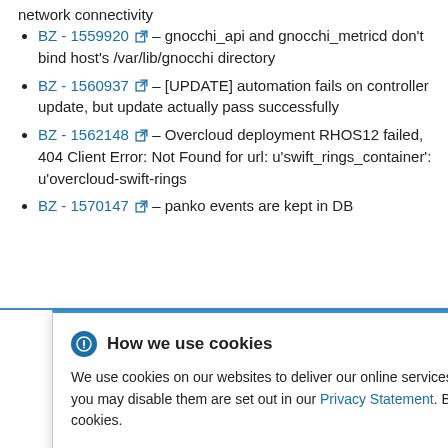network connectivity
BZ - 1559920 – gnocchi_api and gnocchi_metricd don't bind host's /var/lib/gnocchi directory
BZ - 1560937 – [UPDATE] automation fails on controller update, but update actually pass successfully
BZ - 1562148 – Overcloud deployment RHOS12 failed, 404 Client Error: Not Found for url: u'swift_rings_container': u'overcloud-swift-rings
BZ - 1570147 – panko events are kept in DB
How we use cookies – We use cookies on our websites to deliver our online services. Details about how we use cookies and how you may disable them are set out in our Privacy Statement. By using this website you agree to our use of cookies.
to use TLS v1.1 as a minimum